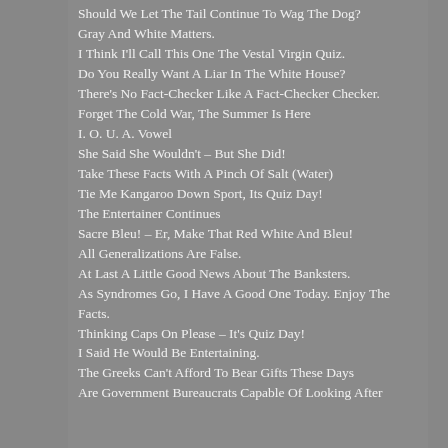Should We Let The Tail Continue To Wag The Dog?
Gray And White Matters.
I Think I'll Call This One The Vestal Virgin Quiz.
Do You Really Want A Liar In The White House?
There's No Fact-Checker Like A Fact-Checker Checker.
Forget The Cold War, The Summer Is Here
I. O. U. A. Vowel
She Said She Wouldn't – But She Did!
Take These Facts With A Pinch Of Salt (Water)
Tie Me Kangaroo Down Sport, Its Quiz Day!
The Entertainer Continues
Sacre Bleu! – Er, Make That Red White And Bleu!
All Generalizations Are False.
At Last A Little Good News About The Banksters.
As Syndromes Go, I Have A Good One Today. Enjoy The Facts.
Thinking Caps On Please – It's Quiz Day!
I Said He Would Be Entertaining.
The Greeks Can't Afford To Bear Gifts These Days
Are Government Bureaucrats Capable Of Looking After